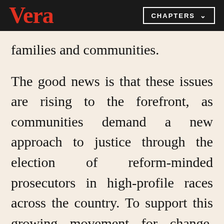Vera | CHAPTERS
families and communities.
The good news is that these issues are rising to the forefront, as communities demand a new approach to justice through the election of reform-minded prosecutors in high-profile races across the country. To support this growing movement for change, Vera's Reshaping Prosecution program is equipping prosecutors with the tools